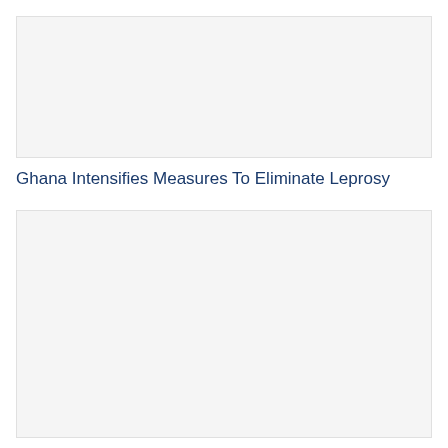[Figure (photo): Image placeholder at the top of the page, light gray background]
Ghana Intensifies Measures To Eliminate Leprosy
[Figure (photo): Image placeholder at the bottom of the page, light gray background]